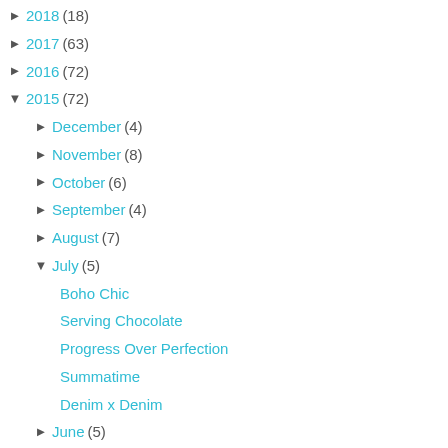► 2018 (18)
► 2017 (63)
► 2016 (72)
▼ 2015 (72)
► December (4)
► November (8)
► October (6)
► September (4)
► August (7)
▼ July (5)
Boho Chic
Serving Chocolate
Progress Over Perfection
Summatime
Denim x Denim
► June (5)
► May (10)
► April (5)
► March (6)
► February (9)
► January (3)
► 2014 (66)
► 2013 (62)